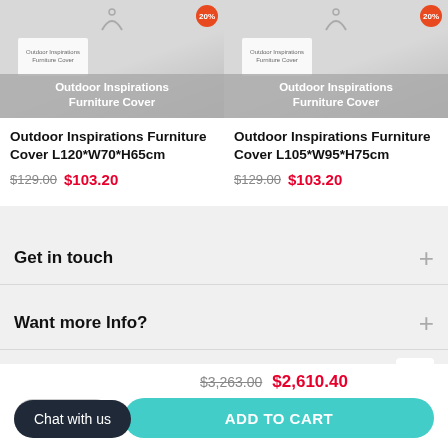[Figure (photo): Product image of Outdoor Inspirations Furniture Cover with grey overlay label]
Outdoor Inspirations Furniture Cover L120*W70*H65cm
$129.00  $103.20
[Figure (photo): Product image of Outdoor Inspirations Furniture Cover with grey overlay label]
Outdoor Inspirations Furniture Cover L105*W95*H75cm
$129.00  $103.20
Get in touch
Want more Info?
$3,263.00  $2,610.40
ADD TO CART
Chat with us